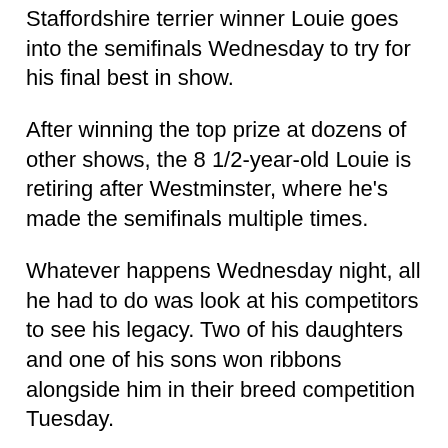Staffordshire terrier winner Louie goes into the semifinals Wednesday to try for his final best in show.
After winning the top prize at dozens of other shows, the 8 1/2-year-old Louie is retiring after Westminster, where he's made the semifinals multiple times.
Whatever happens Wednesday night, all he had to do was look at his competitors to see his legacy. Two of his daughters and one of his sons won ribbons alongside him in their breed competition Tuesday.
And to owner Kim Rudzik of Westfield, Massachusetts, Louie has a bigger title than best in the show.